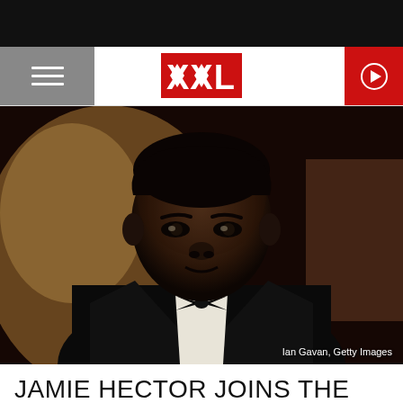XXL
[Figure (photo): Jamie Hector in a black tuxedo with bow tie, portrait photo. Credit: Ian Gavan, Getty Images]
Ian Gavan, Getty Images
JAMIE HECTOR JOINS THE CAST OF THE TUPAC BIOPIC